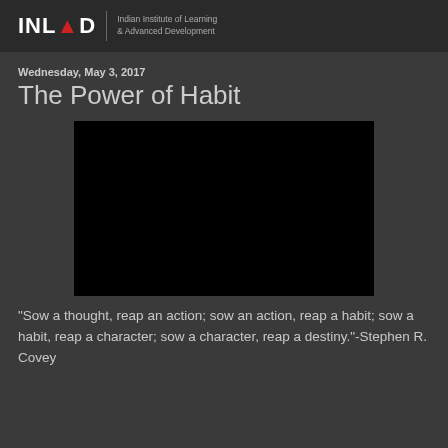INLEAD | Indian Institute of Learning & Advanced Development
Wednesday, May 3, 2017
The Power of Habit
[Figure (photo): Black video thumbnail/embed placeholder]
"Sow a thought, reap an action; sow an action, reap a habit; sow a habit, reap a character; sow a character, reap a destiny."-Stephen R. Covey